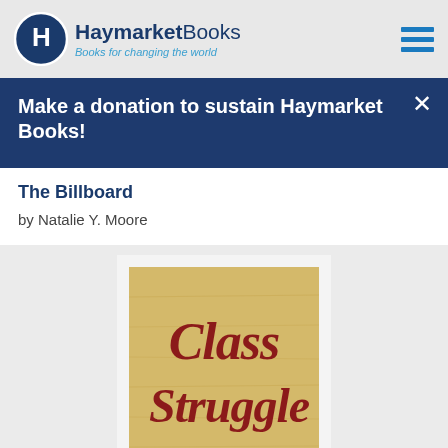Haymarket Books — Books for changing the world
Make a donation to sustain Haymarket Books!
The Billboard
by Natalie Y. Moore
[Figure (illustration): Book cover for 'Class Struggle Unionism' with red script lettering on a tan/wood-grain background with a red semicircle at the bottom]